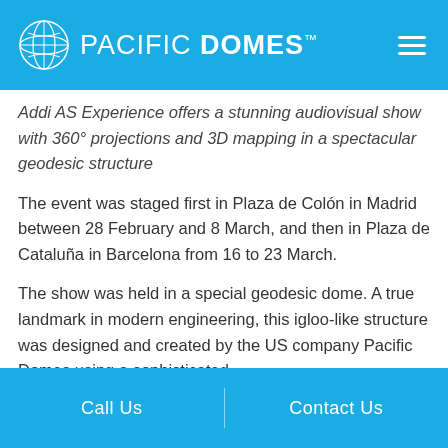PACIFIC DOMES™
Addi AS Experience offers a stunning audiovisual show with 360° projections and 3D mapping in a spectacular geodesic structure
The event was staged first in Plaza de Colón in Madrid between 28 February and 8 March, and then in Plaza de Cataluña in Barcelona from 16 to 23 March.
The show was held in a special geodesic dome. A true landmark in modern engineering, this igloo-like structure was designed and created by the US company Pacific Domes using a sophisticated
Call Us   Contact Us